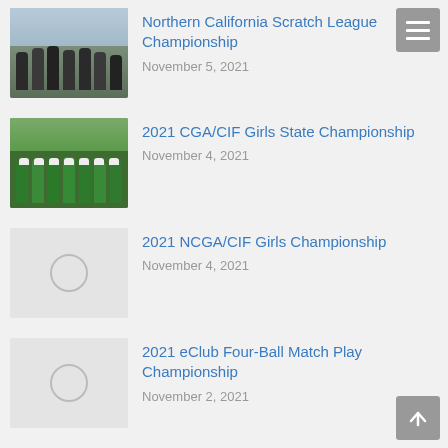[Figure (photo): Group of golfers posing with a trophy/shield, outdoor setting, cloudy sky]
Northern California Scratch League Championship
November 5, 2021
[Figure (photo): Girls golf team in green shirts/medals posing with a trophy]
2021 CGA/CIF Girls State Championship
November 4, 2021
[Figure (photo): Placeholder image with circle icon]
2021 NCGA/CIF Girls Championship
November 4, 2021
[Figure (photo): Placeholder image with circle icon]
2021 eClub Four-Ball Match Play Championship
November 2, 2021